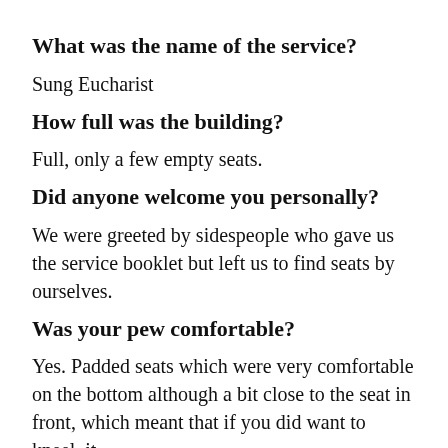…
What was the name of the service?
Sung Eucharist
How full was the building?
Full, only a few empty seats.
Did anyone welcome you personally?
We were greeted by sidespeople who gave us the service booklet but left us to find seats by ourselves.
Was your pew comfortable?
Yes. Padded seats which were very comfortable on the bottom although a bit close to the seat in front, which meant that if you did want to kneel, it…